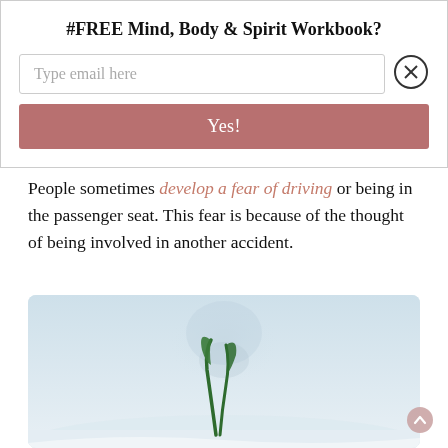#FREE Mind, Body & Spirit Workbook?
Type email here
Yes!
People sometimes develop a fear of driving or being in the passenger seat. This fear is because of the thought of being involved in another accident.
[Figure (photo): A green plant sprout emerging from snow with blurred wintry tree in background]